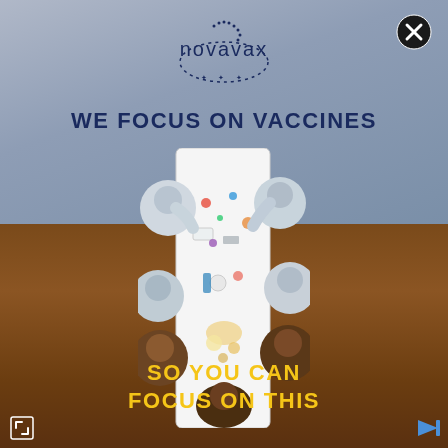[Figure (logo): Novavax logo with dotted circular border and company name in dark navy blue]
[Figure (other): Close button (X) in top right corner, black circle with white X]
WE FOCUS ON VACCINES
[Figure (photo): Aerial top-down view of scientists in lab coats working around a white lab table with various laboratory equipment, samples, and colorful vials. The table is photographed from above against a grey floor (top half) transitioning to warm brown wood floor (bottom half).]
SO YOU CAN
FOCUS ON THIS
[Figure (other): Bottom-left corner icon: white square bracket / resize icon]
[Figure (other): Bottom-right corner icon: blue play/forward arrow icon]